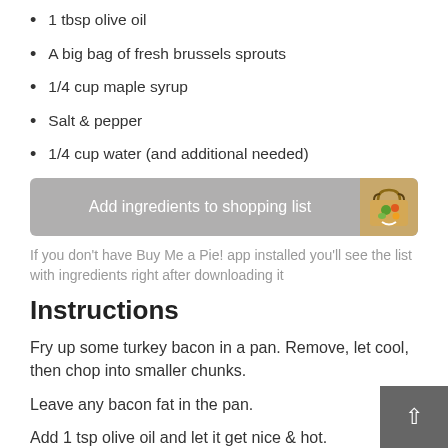1 tbsp olive oil
A big bag of fresh brussels sprouts
1/4 cup maple syrup
Salt & pepper
1/4 cup water (and additional needed)
[Figure (other): Button: Add ingredients to shopping list with a shopping basket icon]
If you don't have Buy Me a Pie! app installed you'll see the list with ingredients right after downloading it
Instructions
Fry up some turkey bacon in a pan. Remove, let cool, then chop into smaller chunks.
Leave any bacon fat in the pan.
Add 1 tsp olive oil and let it get nice & hot.
Slice the brussels thin and rinse well.